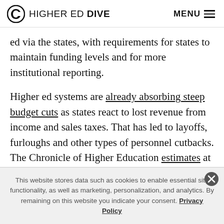HIGHER ED DIVE | MENU
ed via the states, with requirements for states to maintain funding levels and for more institutional reporting.
Higher ed systems are already absorbing steep budget cuts as states react to lost revenue from income and sales taxes. That has led to layoffs, furloughs and other types of personnel cutbacks. The Chronicle of Higher Education estimates at least 48,000 employees across higher ed have been affected by these actions, though
This website stores data such as cookies to enable essential site functionality, as well as marketing, personalization, and analytics. By remaining on this website you indicate your consent. Privacy Policy